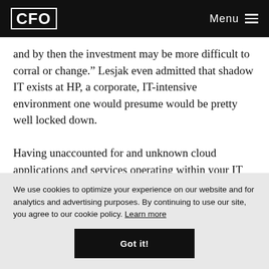CFO | Menu
and by then the investment may be more difficult to corral or change.” Lesjak even admitted that shadow IT exists at HP, a corporate, IT-intensive environment one would presume would be pretty well locked down.
Having unaccounted for and unknown cloud applications and services operating within your IT environment introduces a great deal of risk, both financial and
We use cookies to optimize your experience on our website and for analytics and advertising purposes. By continuing to use our site, you agree to our cookie policy. Learn more
Got it!